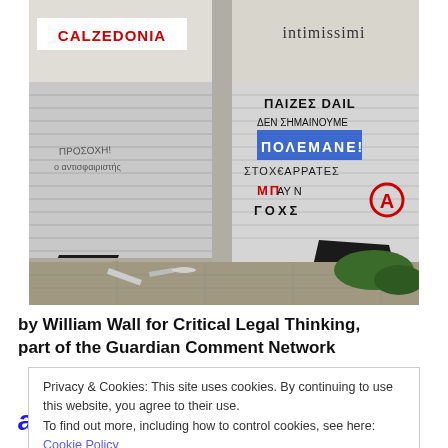[Figure (photo): Damaged storefronts of Calzedonia and Intimissimi shops with shutters down, broken windows, debris on sidewalk, and graffiti in Greek including 'ΠΟΛΕΜΑΝΕ!' and anarchy symbols, red graffiti letters and a red anarchy symbol on the right shutter.]
by William Wall for Critical Legal Thinking, part of the Guardian Comment Network
Privacy & Cookies: This site uses cookies. By continuing to use this website, you agree to their use.
To find out more, including how to control cookies, see here: Cookie Policy
[Button: Κλείσιμο και αποδοχή]
and poverty to keep standard